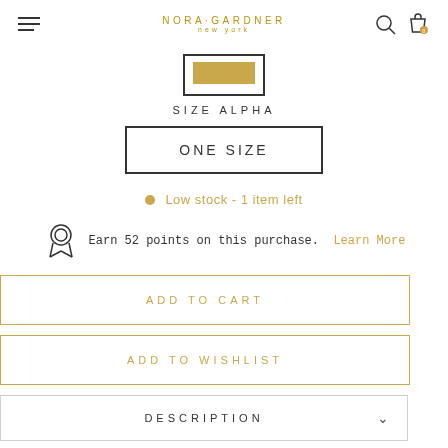NORA·GARDNER NEW YORK
[Figure (illustration): Swatch color box with gold/tan color inside a bordered frame, labeled SIZE ALPHA]
SIZE ALPHA
ONE SIZE
Low stock - 1 item left
Earn 52 points on this purchase. Learn More
ADD TO CART
ADD TO WISHLIST
DESCRIPTION